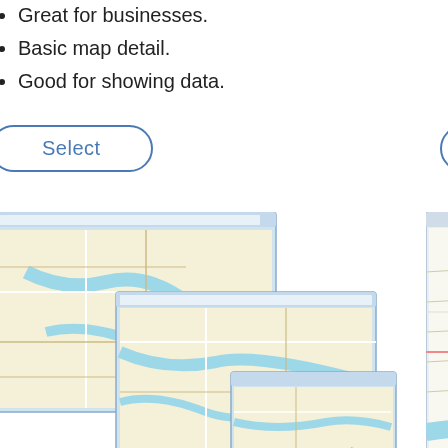Great for businesses.
Basic map detail.
Good for showing data.
Attractive…
Reference…
Great fo…
[Figure (screenshot): Select button for Basic map product]
[Figure (screenshot): Select button (partially visible) for Premium map product]
[Figure (map): Basic Dalton MSA GA Report Map screenshot showing street/road map with hand holding printed map]
[Figure (map): Premium Dalton MSA GA Report Map screenshot (partially visible)]
Basic
Dalton MSA, GA
Report Map
Premium
Dalton MS…
Report …
Great for businesses.
Basic map detail.
Good for showing data.
Attractive…
Reference…
Great as…